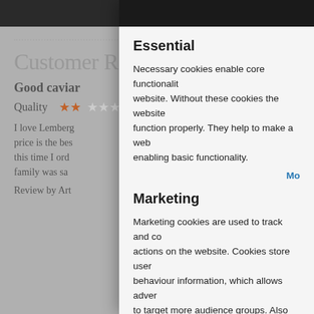Customer Reviews
Good caviar
Quality ★★
I love Lemberg... price is the bes... this time I ord... family was sa...
Review by Art...
Essential
Necessary cookies enable core functionality website. Without these cookies the website function properly. They help to make a web enabling basic functionality.
Mo
Marketing
Marketing cookies are used to track and co actions on the website. Cookies store user behaviour information, which allows adver to target more audience groups. Also more
We use cookies to help improve services, make personal offers, enhance your experience. If you accept optional cookies below, y experience may be affected. If y know more, please read the Coo > We use cookies to improve ou